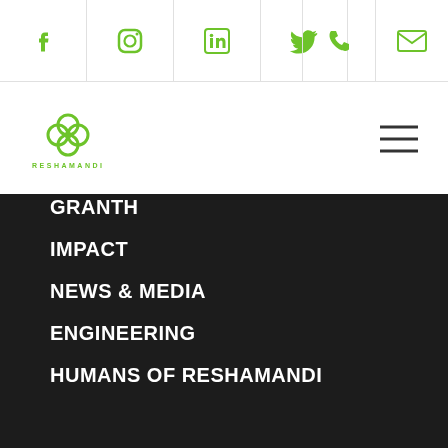[Figure (screenshot): Top navigation bar with social media icons (Facebook, Instagram, LinkedIn, Twitter) on left, phone and email icons on right, all in green on white background]
[Figure (logo): Reshamandi logo - green flower/knot symbol above text RESHAMANDI]
[Figure (screenshot): Hamburger menu icon (three horizontal lines)]
GRANTH
IMPACT
NEWS & MEDIA
ENGINEERING
HUMANS OF RESHAMANDI
[Figure (screenshot): Social media icons row on dark background: Facebook, Instagram, LinkedIn, Twitter in green]
ABOUT
#MAIN #WEBSITE
#TEAM